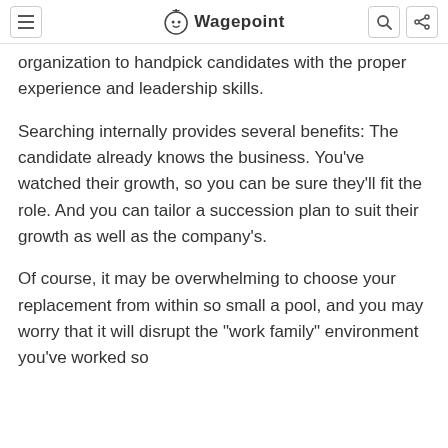Wagepoint
organization to handpick candidates with the proper experience and leadership skills.
Searching internally provides several benefits: The candidate already knows the business. You've watched their growth, so you can be sure they'll fit the role. And you can tailor a succession plan to suit their growth as well as the company's.
Of course, it may be overwhelming to choose your replacement from within so small a pool, and you may worry that it will disrupt the "work family" environment you've worked so